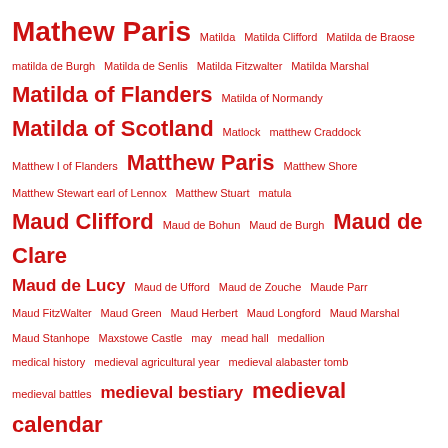[Figure (other): Tag cloud of historical and medieval topics, all in red, varying font sizes indicating frequency/importance. Topics range from proper names (Mathew Paris, Matilda variants, Matthew Paris, Maud variants) to subject terms (medieval medicine, medieval calendar, medieval Christmas, medieval floor tiles, etc.)]